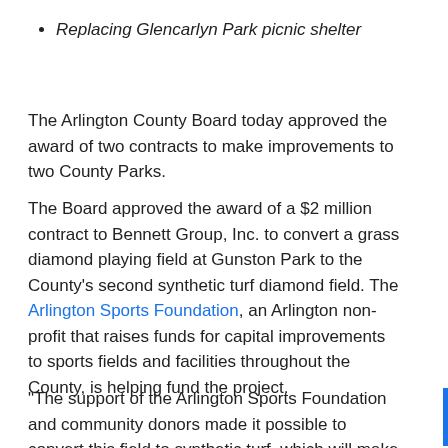Replacing Glencarlyn Park picnic shelter
The Arlington County Board today approved the award of two contracts to make improvements to two County Parks.
The Board approved the award of a $2 million contract to Bennett Group, Inc. to convert a grass diamond playing field at Gunston Park to the County's second synthetic turf diamond field. The Arlington Sports Foundation, an Arlington non-profit that raises funds for capital improvements to sports fields and facilities throughout the County, is helping fund the project.
"The support of the Arlington Sports Foundation and community donors made it possible to convert this field to synthetic turf, which will make it available to more people